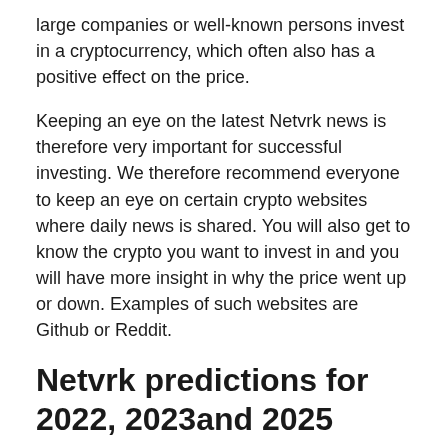large companies or well-known persons invest in a cryptocurrency, which often also has a positive effect on the price.
Keeping an eye on the latest Netvrk news is therefore very important for successful investing. We therefore recommend everyone to keep an eye on certain crypto websites where daily news is shared. You will also get to know the crypto you want to invest in and you will have more insight in why the price went up or down. Examples of such websites are Github or Reddit.
Netvrk predictions for 2022, 2023and 2025
Our own Netvrk predictions for the years 2022- 2025 are certainly positive. It is clear that Netvrk is gaining social acceptance and we predict this to continue to develop strongly in the future. This will benefit the price of Netvrk in